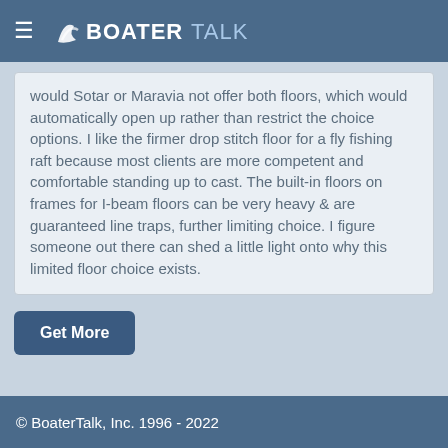BOATERTALK
would Sotar or Maravia not offer both floors, which would automatically open up rather than restrict the choice options. I like the firmer drop stitch floor for a fly fishing raft because most clients are more competent and comfortable standing up to cast. The built-in floors on frames for I-beam floors can be very heavy & are guaranteed line traps, further limiting choice. I figure someone out there can shed a little light onto why this limited floor choice exists.
Get More
© BoaterTalk, Inc. 1996 - 2022